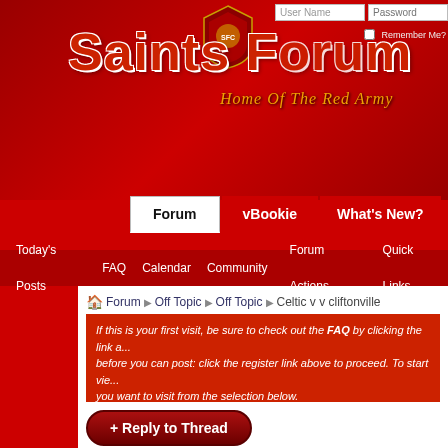Saints Forum - Home Of The Red Army
User Name | Password | Remember Me?
Forum | vBookie | What's New?
Today's Posts | FAQ | Calendar | Community | Forum Actions | Quick Links
Forum » Off Topic » Off Topic » Celtic v v cliftonville
If this is your first visit, be sure to check out the FAQ by clicking the link above. You may have to register before you can post: click the register link above to proceed. To start viewing messages, select the forum that you want to visit from the selection below.
+ Reply to Thread
Thread: Celtic v v cliftonville
Thre
17th July 2013 07:51 PM
SVM
Packie Lynch
Join Date: Aug 2010
Celtic v v cliftonville
one is not amused !